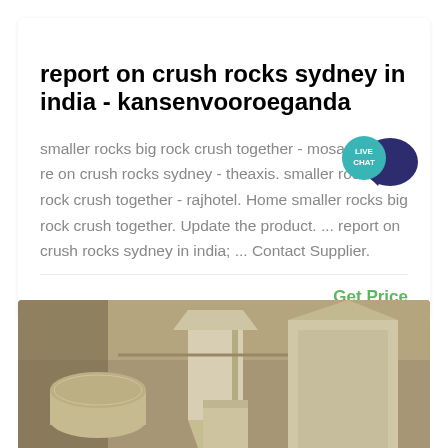report on crush rocks sydney in india - kansenvooroeganda
smaller rocks big rock crush together - mosadimooka. report on crush rocks sydney - theaxis. smaller rocks big rock crush together - rajhotel. Home smaller rocks big rock crush together. Update the product. ... report on crush rocks sydney in india; ... Contact Supplier.
Get Price
[Figure (photo): Industrial milling/crushing equipment showing white/cream colored machinery with hoppers and cylindrical components in a warehouse or factory setting]